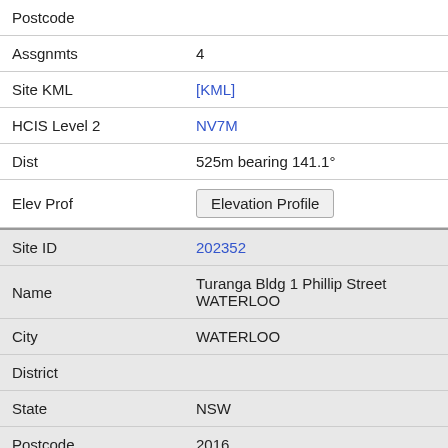| Postcode |  |
| Assgnmts | 4 |
| Site KML | [KML] |
| HCIS Level 2 | NV7M |
| Dist | 525m bearing 141.1° |
| Elev Prof | Elevation Profile |
| Site ID | 202352 |
| Name | Turanga Bldg 1 Phillip Street WATERLOO |
| City | WATERLOO |
| District |  |
| State | NSW |
| Postcode | 2016 |
| Assgnmts |  |
| Site KML | [KML] |
| HCIS Level 2 | NV7M |
| Dist | 535m bearing 108.1° |
| Elev Prof | Elevation Profile |